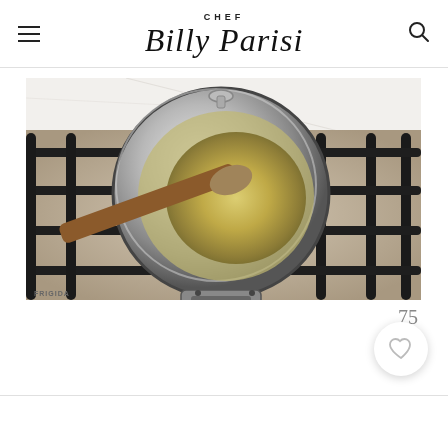CHEF Billy Parisi
[Figure (photo): A stainless steel saucepan on a gas stovetop (Frigidaire) with sautéed onions or garlic being stirred with a wooden spoon. The pan sits on black cast iron grates. The background shows a white marble countertop.]
75